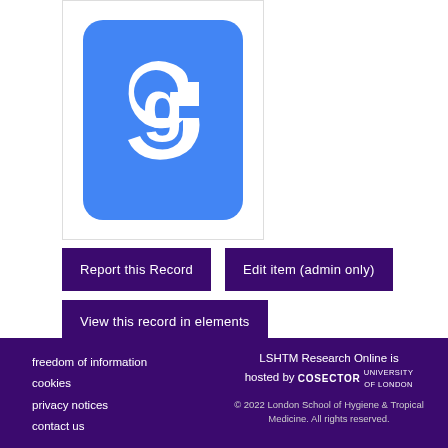[Figure (logo): Google Scholar logo — blue rounded-rectangle background with white 'g' letterform]
Report this Record
Edit item (admin only)
View this record in elements
freedom of information
cookies
privacy notices
contact us
LSHTM Research Online is hosted by COSECTOR UNIVERSITY OF LONDON
© 2022 London School of Hygiene & Tropical Medicine. All rights reserved.